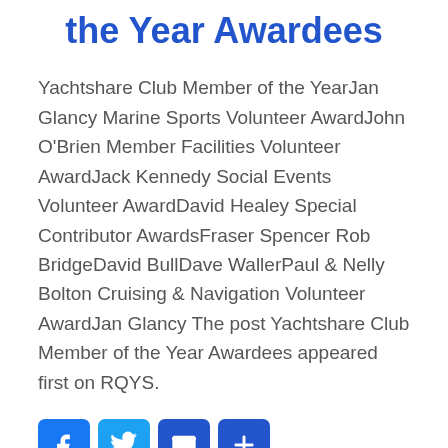the Year Awardees
Yachtshare Club Member of the YearJan Glancy Marine Sports Volunteer AwardJohn O'Brien Member Facilities Volunteer AwardJack Kennedy Social Events Volunteer AwardDavid Healey Special Contributor AwardsFraser Spencer Rob BridgeDavid BullDave WallerPaul & Nelly Bolton Cruising & Navigation Volunteer AwardJan Glancy The post Yachtshare Club Member of the Year Awardees appeared first on RQYS.
[Figure (infographic): Social sharing buttons: Facebook, Twitter, Email, Share (plus icon)]